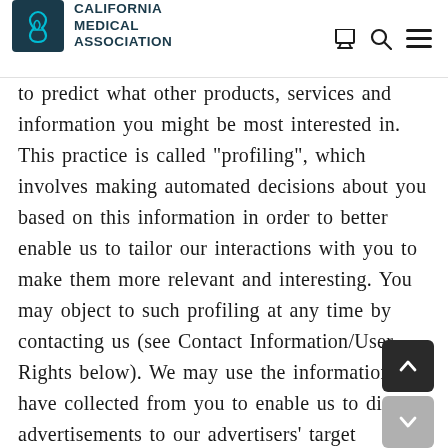CALIFORNIA MEDICAL ASSOCIATION
to predict what other products, services and information you might be most interested in. This practice is called “profiling”, which involves making automated decisions about you based on this information in order to better enable us to tailor our interactions with you to make them more relevant and interesting. You may object to such profiling at any time by contacting us (see Contact Information/User Rights below). We may use the information we have collected from you to enable us to display advertisements to our advertisers’ target audiences. Even though do not disclose your Personal Information these purposes without your consent, if you click on or otherwise interact with an